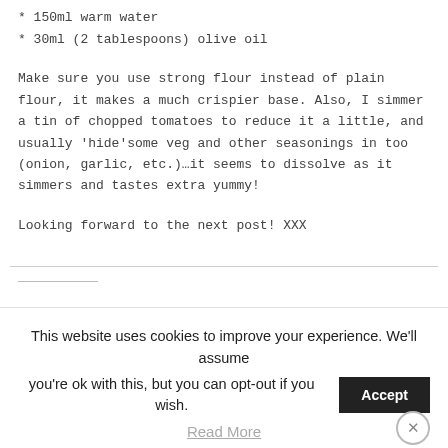* 150ml warm water
* 30ml (2 tablespoons) olive oil
Make sure you use strong flour instead of plain flour, it makes a much crispier base. Also, I simmer a tin of chopped tomatoes to reduce it a little, and usually 'hide'some veg and other seasonings in too (onion, garlic, etc.)…it seems to dissolve as it simmers and tastes extra yummy!
Looking forward to the next post! XXX
This website uses cookies to improve your experience. We'll assume you're ok with this, but you can opt-out if you wish.
Read More